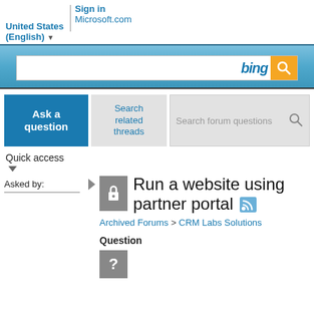Sign in | Microsoft.com | United States (English)
[Figure (screenshot): Bing search bar with orange search button and Bing logo on a blue gradient background]
Ask a question
Search related threads
Search forum questions
Quick access
Asked by:
Run a website using partner portal
Archived Forums > CRM Labs Solutions
Question